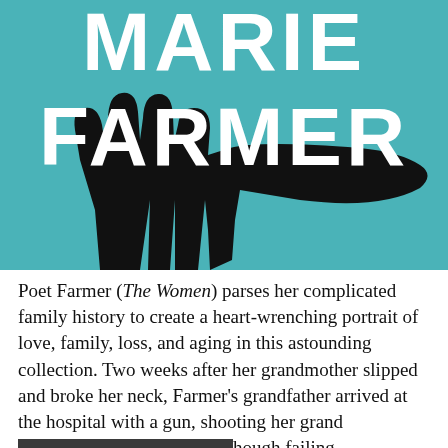[Figure (illustration): Book cover with teal/cyan background showing a large black silhouette of an open hand. White bold text reads 'MARIE' at top and 'FARMER' below, partially overlapping the hand silhouette.]
Poet Farmer (The Women) parses her complicated family history to create a heart-wrenching portrait of love, family, loss, and aging in this astounding collection. Two weeks after her grandmother slipped and broke her neck, Farmer's grandfather arrived at the hospital with a gun, shooting her grand[REDACTED]hough failing[REDACTED]g